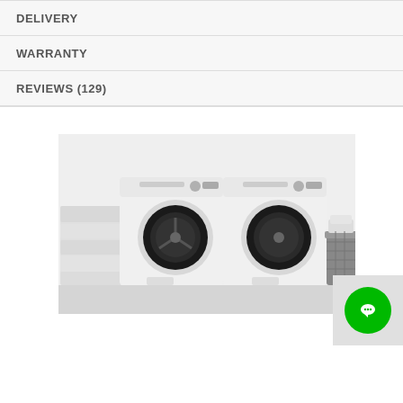DELIVERY
WARRANTY
REVIEWS (129)
[Figure (photo): Photo of two white front-load washing machines/dryers side by side against a white brick wall background, with folded white towels and linens on the left and a wicker basket with towels on the right.]